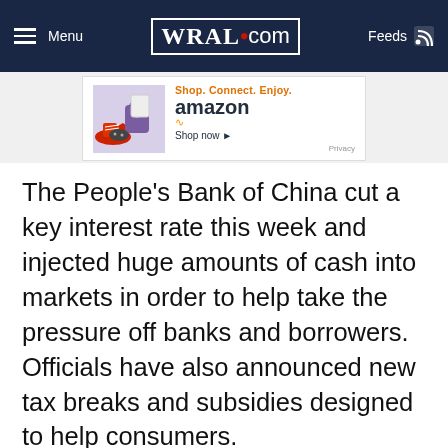Menu | WRAL.com | Feeds
[Figure (screenshot): Amazon advertisement banner: Shop. Connect. Enjoy. amazon Shop now ▸ Privacy]
The People's Bank of China cut a key interest rate this week and injected huge amounts of cash into markets in order to help take the pressure off banks and borrowers. Officials have also announced new tax breaks and subsidies designed to help consumers.
Yet China is also more vulnerable to a crisis than it was 17 years ago when SARS broke